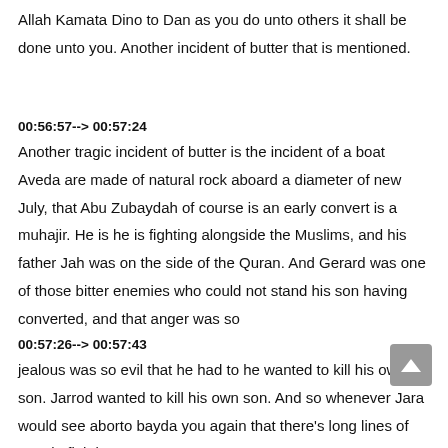Allah Kamata Dino to Dan as you do unto others it shall be done unto you. Another incident of butter that is mentioned.
00:56:57--> 00:57:24
Another tragic incident of butter is the incident of a boat Aveda are made of natural rock aboard a diameter of new July, that Abu Zubaydah of course is an early convert is a muhajir. He is he is fighting alongside the Muslims, and his father Jah was on the side of the Quran. And Gerard was one of those bitter enemies who could not stand his son having converted, and that anger was so
00:57:26--> 00:57:43
jealous was so evil that he had to he wanted to kill his own son. Jarrod wanted to kill his own son. And so whenever Jara would see aborto bayda you again that there's long lines of people fighting,